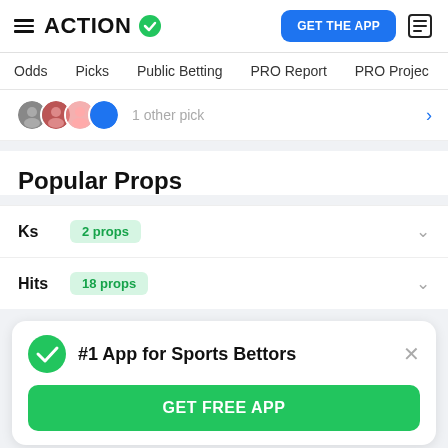ACTION | GET THE APP
Odds | Picks | Public Betting | PRO Report | PRO Project
1 other pick
Popular Props
Ks  2 props
Hits  18 props
#1 App for Sports Bettors
GET FREE APP